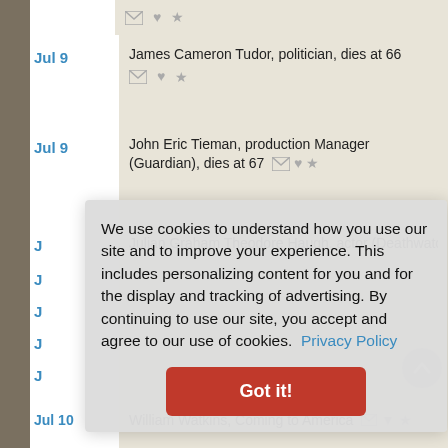Jul 9 — James Cameron Tudor, politician, dies at 66
Jul 9 — John Eric Tieman, production Manager (Guardian), dies at 67
Jul [9] — Julian Graham Theodore Haugh, actor (Deathwatch ...) [partially visible]
Jul [9] — [truncated row]
Jul [9] — [truncated row]
Jul [9] — [truncated row]
Jul 10 — William Watkins, Coming to America [partially visible]
We use cookies to understand how you use our site and to improve your experience. This includes personalizing content for you and for the display and tracking of advertising. By continuing to use our site, you accept and agree to our use of cookies. Privacy Policy  Got it!